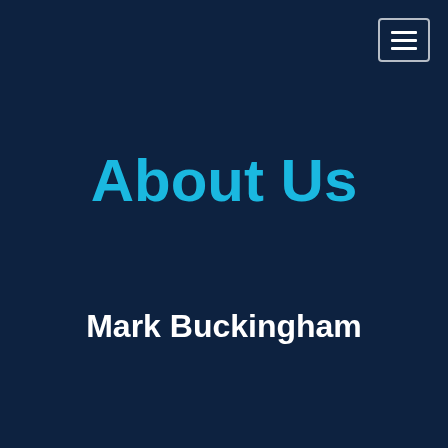[Figure (screenshot): Dark navy background with hamburger menu icon in top right corner]
About Us
Mark Buckingham